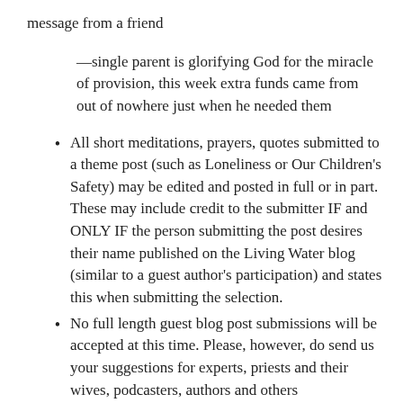message from a friend
—single parent is glorifying God for the miracle of provision, this week extra funds came from out of nowhere just when he needed them
All short meditations, prayers, quotes submitted to a theme post (such as Loneliness or Our Children's Safety) may be edited and posted in full or in part. These may include credit to the submitter IF and ONLY IF the person submitting the post desires their name published on the Living Water blog (similar to a guest author's participation) and states this when submitting the selection.
No full length guest blog post submissions will be accepted at this time. Please, however, do send us your suggestions for experts, priests and their wives, podcasters, authors and others